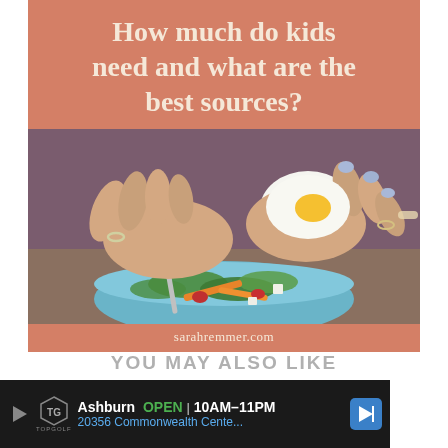How much do kids need and what are the best sources?
[Figure (photo): Person's hands with light blue nail polish cutting a hard-boiled egg with a knife over a blue bowl containing a salad with carrots, tomatoes, and greens]
sarahremmer.com
YOU MAY ALSO LIKE
[Figure (infographic): Advertisement bar: Topgolf Ashburn OPEN 10AM-11PM, 20356 Commonwealth Cente... with navigation icon and close button]